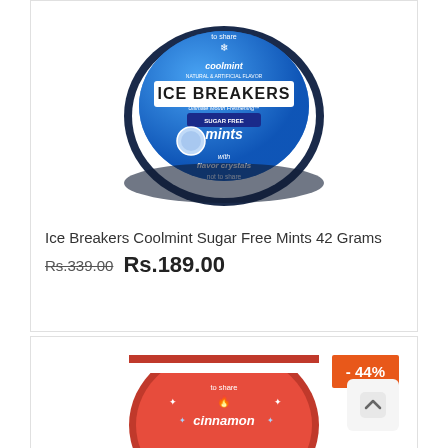[Figure (photo): Ice Breakers Coolmint Sugar Free Mints tin, blue circular container with blue lid showing 'ICE BREAKERS' brand name, 'coolmint', 'sugar free mints', 'with flavor crystals', '1.5oz (42g)' text]
Ice Breakers Coolmint Sugar Free Mints 42 Grams
Rs.339.00 Rs.189.00
[Figure (photo): Ice Breakers Cinnamon flavor mints tin, red and white circular container, partially visible, showing 'to share' and 'cinnamon' text with flame icon]
- 44%